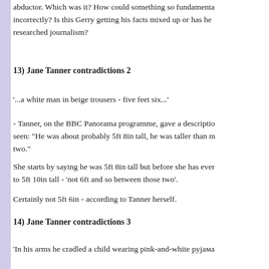abductor. Which was it? How could something so fundamental be reported incorrectly? Is this Gerry getting his facts mixed up or has he researched journalism?
13) Jane Tanner contradictions 2
'...a white man in beige trousers - five feet six...'
- Tanner, on the BBC Panorama programme, gave a description of the man she seen: "He was about probably 5ft 8in tall, he was taller than m two."
She starts by saying he was 5ft 8in tall but before she has even finished upgrades to 5ft 10in tall - 'not 6ft and so between those two'.
Certainly not 5ft 6in - according to Tanner herself.
14) Jane Tanner contradictions 3
'In his arms he cradled a child wearing pink-and-white pyjaма
- How Tanner could identify pink-and-white pyjamas remains that Madeleine is alleged to have been wearing were 'cut-off' s carried in the rather bizarre fashion described by Tanner (not d like a sacrificial lamb) the pyjama bottoms would have ridden impossible to see.
She describes the man walking away from her 'urgently' and a